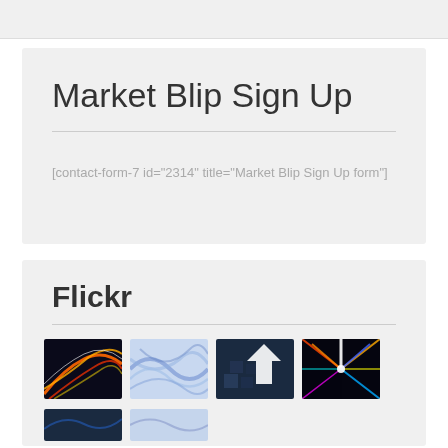Market Blip Sign Up
[contact-form-7 id="2314" title="Market Blip Sign Up form"]
Flickr
[Figure (photo): Four Flickr thumbnail images: colorful light streaks (orange/red), blue abstract waves, dark blue with white arrow and cubes, multicolored star burst light rays]
[Figure (photo): Two more Flickr thumbnail images partially visible at bottom]